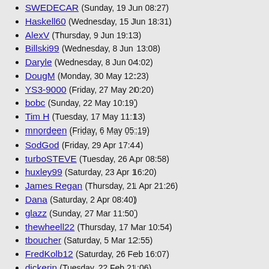SWEDECAR (Sunday, 19 Jun 08:27)
Haskell60 (Wednesday, 15 Jun 18:31)
AlexV (Thursday, 9 Jun 19:13)
Billski99 (Wednesday, 8 Jun 13:08)
Daryle (Wednesday, 8 Jun 04:02)
DougM (Monday, 30 May 12:23)
YS3-9000 (Friday, 27 May 20:20)
bobc (Sunday, 22 May 10:19)
Tim H (Tuesday, 17 May 11:13)
mnordeen (Friday, 6 May 05:19)
SodGod (Friday, 29 Apr 17:44)
turboSTEVE (Tuesday, 26 Apr 08:58)
huxley99 (Saturday, 23 Apr 16:20)
James Regan (Thursday, 21 Apr 21:26)
Dana (Saturday, 2 Apr 08:40)
glazz (Sunday, 27 Mar 11:50)
thewheell22 (Thursday, 17 Mar 10:54)
tboucher (Saturday, 5 Mar 12:55)
FredKolb12 (Saturday, 26 Feb 16:07)
dickerin (Tuesday, 22 Feb 21:06)
Olav R Faleide (Tuesday, 15 Feb 13:11)
jvanibm (Thursday, 3 Feb 18:09)
denwom (Thursday, 20 Jan 13:21)
V-22 Osprey (Tuesday, 4 Jan 07:54)
MikeGFed (Monday, 3 Jan 07:53)